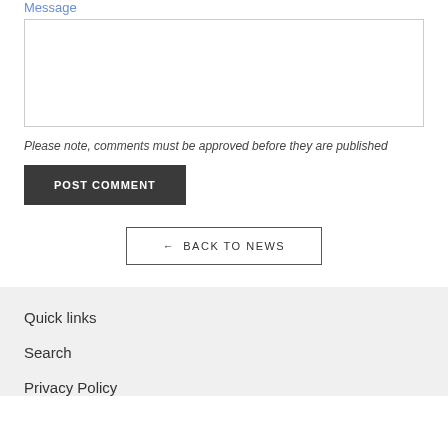Message
[Figure (other): Text area input box for message entry]
Please note, comments must be approved before they are published
POST COMMENT
← BACK TO NEWS
Quick links
Search
Privacy Policy